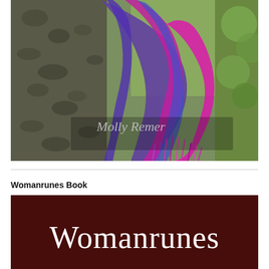[Figure (photo): A woman draped in a vibrant purple and magenta tie-dye fabric or shawl with fringe, leaning against a large tree trunk in a forest setting. The text 'Molly Remer' appears in white serif font overlaid on the lower portion of the image.]
Womanrunes Book
[Figure (photo): A dark reddish-brown book cover showing the title 'Womanrunes' in large white serif font on a deep maroon/brown background.]